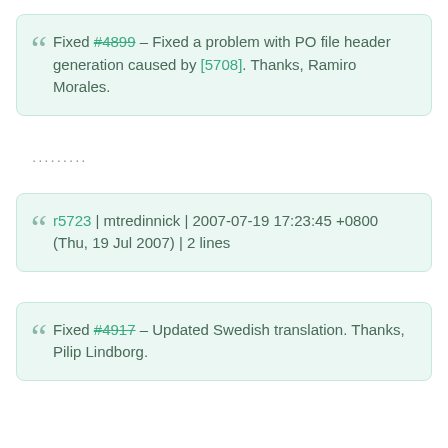Fixed #4899 – Fixed a problem with PO file header generation caused by [5708]. Thanks, Ramiro Morales.
.........
r5723 | mtredinnick | 2007-07-19 17:23:45 +0800 (Thu, 19 Jul 2007) | 2 lines
Fixed #4917 – Updated Swedish translation. Thanks, Pilip Lindborg.